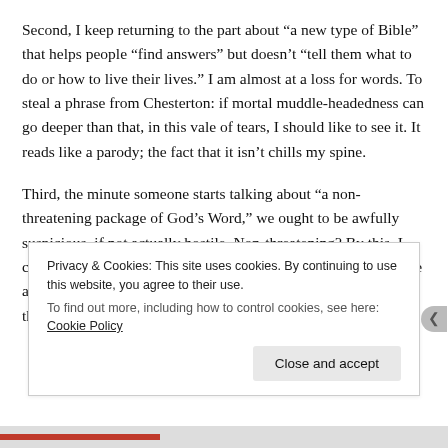Second, I keep returning to the part about “a new type of Bible” that helps people “find answers” but doesn’t “tell them what to do or how to live their lives.” I am almost at a loss for words. To steal a phrase from Chesterton: if mortal muddle-headedness can go deeper than that, in this vale of tears, I should like to see it. It reads like a parody; the fact that it isn’t chills my spine.
Third, the minute someone starts talking about “a non-threatening package of God’s Word,” we ought to be awfully suspicious, if not actually hostile. Non-threatening? By this, I can only conclude that what is being offered is not really a Bible at all. It can’t be. Turn around and take a good long stare down the corridor of history, bub.
Privacy & Cookies: This site uses cookies. By continuing to use this website, you agree to their use.
To find out more, including how to control cookies, see here: Cookie Policy